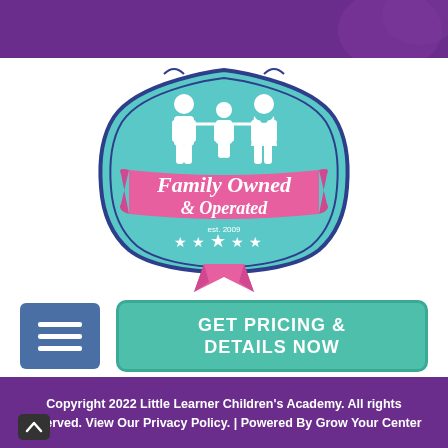[Figure (logo): Purple decorative header bar with circular decorative element on right side]
[Figure (logo): Family Owned & Operated badge/seal in teal and pink with family silhouette icons, stars, est. 2009, and pink ribbon at bottom]
[Figure (other): Blue square menu/hamburger button icon with three white horizontal lines]
[Figure (other): Teal rounded rectangle button with text GET PRICING & DETAILS NOW]
Copyright 2022 Little Learner Children's Academy. All rights reserved. View Our Privacy Policy. | Powered By Grow Your Center